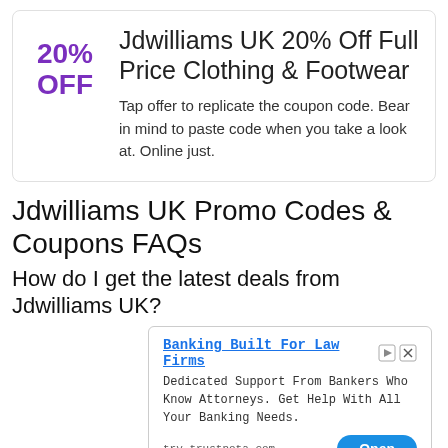[Figure (infographic): Coupon card showing 20% OFF in purple text on the left, and title 'Jdwilliams UK 20% Off Full Price Clothing & Footwear' with description text on the right]
Jdwilliams UK 20% Off Full Price Clothing & Footwear
Tap offer to replicate the coupon code. Bear in mind to paste code when you take a look at. Online just.
Jdwilliams UK Promo Codes & Coupons FAQs
How do I get the latest deals from Jdwilliams UK?
[Figure (infographic): Advertisement banner: Banking Built For Law Firms - Dedicated Support From Bankers Who Know Attorneys. Get Help With All Your Banking Needs. try.trustnota.com with Open button]